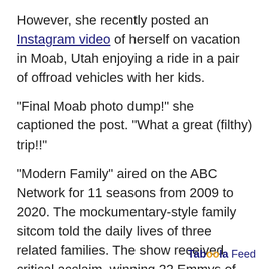However, she recently posted an Instagram video of herself on vacation in Moab, Utah enjoying a ride in a pair of offroad vehicles with her kids.
"Final Moab photo dump!" she captioned the post. "What a great (filthy) trip!!"
"Modern Family" aired on the ABC Network for 11 seasons from 2009 to 2020. The mockumentary-style family sitcom told the daily lives of three related families. The show received critical acclaim, winning 22 Emmys of 75 nominations. Bowen won twice for supporting actress in a comedy.
FOX News contributed to this story. This story was reported from Los Angeles.
Taboola Feed